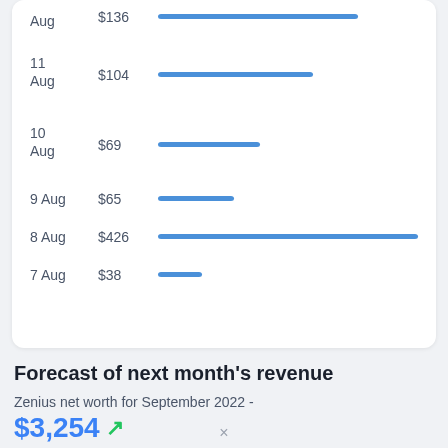[Figure (bar-chart): Daily revenue (partial, top cropped)]
Forecast of next month's revenue
Zenius net worth for September 2022 -
$3,254 ↗